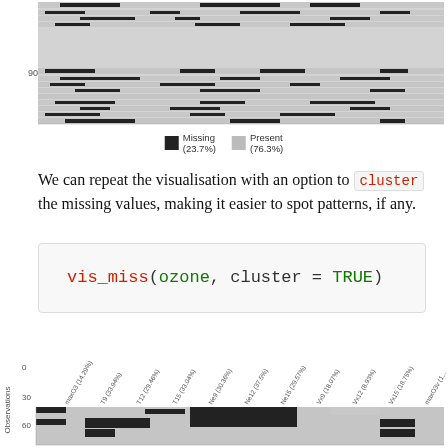[Figure (other): Missingness heatmap showing observations vs variables, with dark cells for missing and light cells for present values. Partial view at top of page.]
Missing (23.7%)   Present (76.3%)
We can repeat the visualisation with an option to cluster the missing values, making it easier to spot patterns, if any.
[Figure (screenshot): Code block: vis_miss(ozone, cluster = TRUE)]
[Figure (other): Clustered missingness heatmap for ozone dataset with column headers: maxO3 (14.29%), T9 (33.94%), T12 (29.46%), T15 (33.04%), Ne9 (30.36%), Ne12 (37.5%), Ne15 (29.57%), Vx9 (18.07%), Vx12 (8.93%), Vx15 (18.75%), maxO3v (1...) and Observations axis showing values 0, 30, 60.]